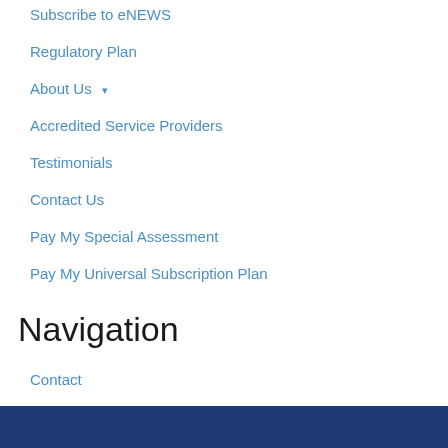Subscribe to eNEWS
Regulatory Plan
About Us ▾
Accredited Service Providers
Testimonials
Contact Us
Pay My Special Assessment
Pay My Universal Subscription Plan
Navigation
Contact